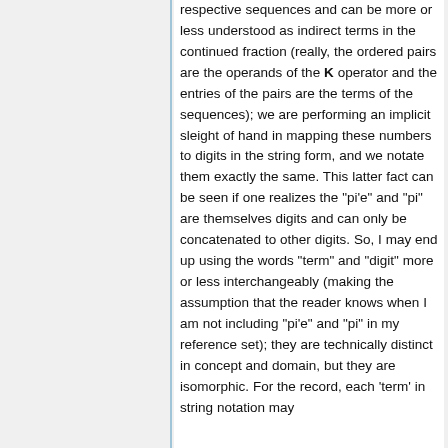respective sequences and can be more or less understood as indirect terms in the continued fraction (really, the ordered pairs are the operands of the K operator and the entries of the pairs are the terms of the sequences); we are performing an implicit sleight of hand in mapping these numbers to digits in the string form, and we notate them exactly the same. This latter fact can be seen if one realizes the "pi'e" and "pi" are themselves digits and can only be concatenated to other digits. So, I may end up using the words "term" and "digit" more or less interchangeably (making the assumption that the reader knows when I am not including "pi'e" and "pi" in my reference set); they are technically distinct in concept and domain, but they are isomorphic. For the record, each 'term' in string notation may